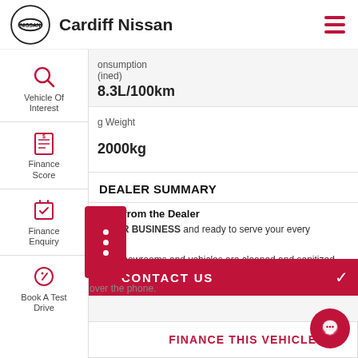Cardiff Nissan
consumption (combined): 8.3L/100km
g Weight: 2000kg
DEALER SUMMARY
ents from the Dealer
N FOR BUSINESS and ready to serve your every need!!
Our showrooms and vehicles are cleaned and sanitized daily.
over the phone.
CONTACT US
FINANCE THIS VEHICLE